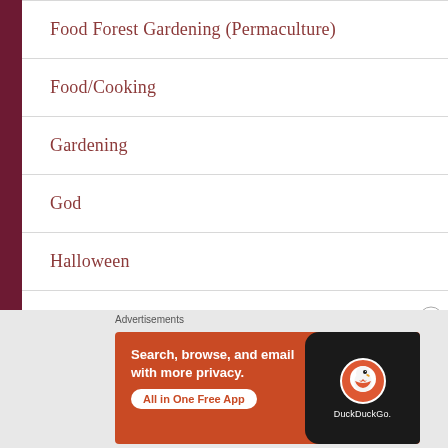Food Forest Gardening (Permaculture)
Food/Cooking
Gardening
God
Halloween
Herbs
[Figure (infographic): DuckDuckGo advertisement banner on orange background: 'Search, browse, and email with more privacy. All in One Free App' with DuckDuckGo logo and phone graphic]
Advertisements